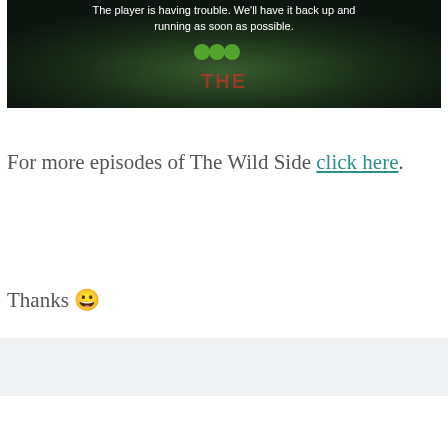[Figure (screenshot): Video player error screen with dark background. Text reads: 'The player is having trouble. We'll have it back up and running as soon as possible.' Green circular logo elements and red text logo visible in background.]
For more episodes of The Wild Side click here.
Thanks 😀